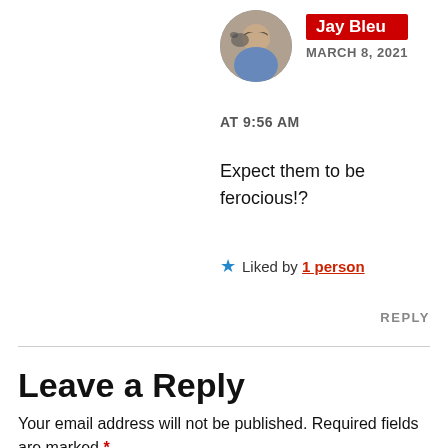[Figure (photo): Circular avatar photo of a person wearing sunglasses with a dog]
Jay Bleu
MARCH 8, 2021
AT 9:56 AM
Expect them to be ferocious!?
★ Liked by 1 person
REPLY
Leave a Reply
Your email address will not be published. Required fields are marked *